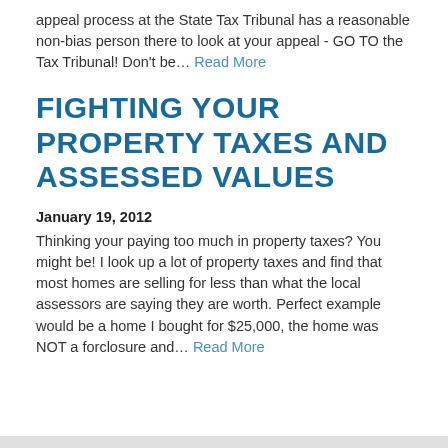appeal process at the State Tax Tribunal has a reasonable non-bias person there to look at your appeal - GO TO the Tax Tribunal! Don't be… Read More
FIGHTING YOUR PROPERTY TAXES AND ASSESSED VALUES
January 19, 2012
Thinking your paying too much in property taxes? You might be! I look up a lot of property taxes and find that most homes are selling for less than what the local assessors are saying they are worth. Perfect example would be a home I bought for $25,000, the home was NOT a forclosure and… Read More